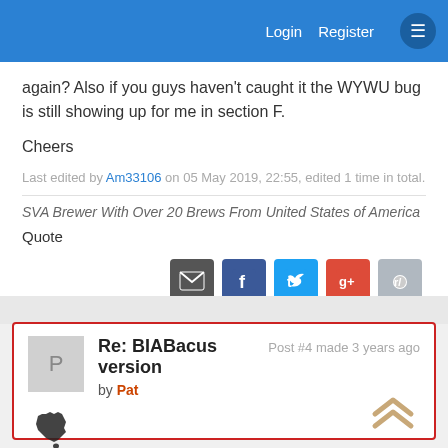Login  Register
again? Also if you guys haven't caught it the WYWU bug is still showing up for me in section F.
Cheers
Last edited by Am33106 on 05 May 2019, 22:55, edited 1 time in total.
SVA Brewer With Over 20 Brews From United States of America
Quote
[Figure (infographic): Social share icons: email, Facebook, Twitter, Google+, Reddit]
Re: BIABacus version
by Pat
Post #4 made 3 years ago
[Figure (illustration): Silhouette map of Australia]